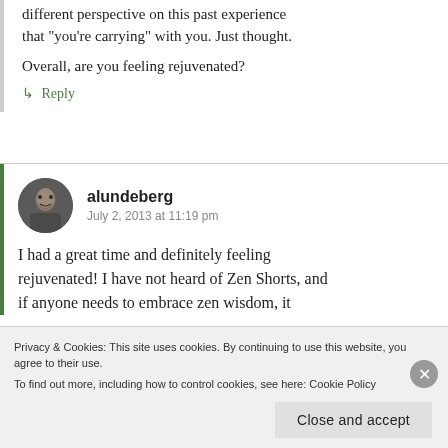different perspective on this past experience that “you’re carrying” with you. Just thought.
Overall, are you feeling rejuvenated?
↳ Reply
[Figure (photo): Circular avatar photo of user alundeberg]
alundeberg
July 2, 2013 at 11:19 pm
I had a great time and definitely feeling rejuvenated! I have not heard of Zen Shorts, and if anyone needs to embrace zen wisdom, it
Privacy & Cookies: This site uses cookies. By continuing to use this website, you agree to their use.
To find out more, including how to control cookies, see here: Cookie Policy
Close and accept